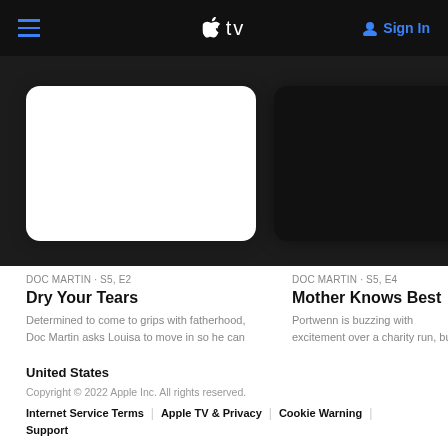Apple TV — Sign In
[Figure (screenshot): Thumbnail card for Doc Martin S5 E2 - white/blank image with rounded corners on dark background]
[Figure (screenshot): Thumbnail card for Doc Martin S5 E4 - black image with rounded corners on dark background]
DOC MARTIN · S5, E2
Dry Your Tears
Determined to come to grips with fatherhood, Doc Martin asks Louisa to move in so he can help raise the…
DOC MARTIN · S5, E4
Mother Knows Best
Portwenn is buzzing with excitement over a charity run, but the fundraiser sparks a culinary rivalry between B…
United States
Copyright © 2022 Apple Inc. All rights reserved.
Internet Service Terms | Apple TV & Privacy | Cookie Warning | Support